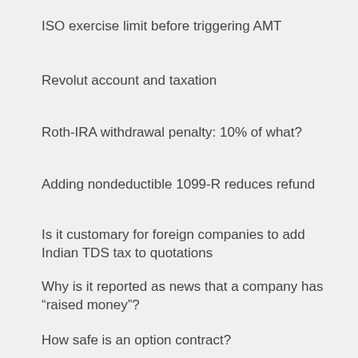ISO exercise limit before triggering AMT
Revolut account and taxation
Roth-IRA withdrawal penalty: 10% of what?
Adding nondeductible 1099-R reduces refund
Is it customary for foreign companies to add Indian TDS tax to quotations
Why is it reported as news that a company has “raised money”?
How safe is an option contract?
Worry about trading High Interest Savings Accounts only by phone?